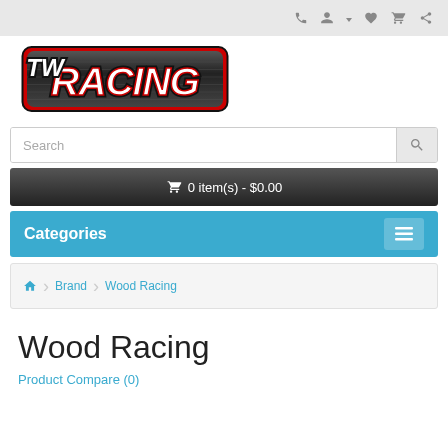Navigation icons: phone, account, wishlist, cart, share
[Figure (logo): Wood Racing logo: styled text reading 'RACING' with car-themed graphic design, red, white, and black colors]
Search
🛒 0 item(s) - $0.00
Categories
🏠 Brand Wood Racing
Wood Racing
Product Compare (0)